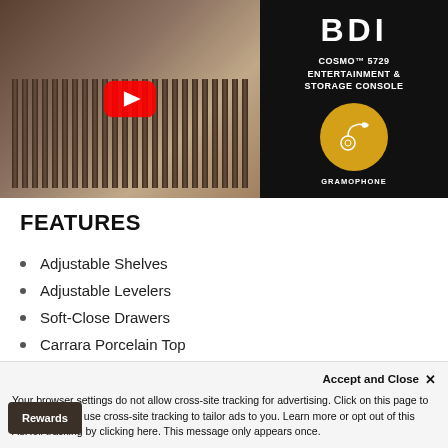[Figure (screenshot): Video thumbnail showing a wood sideboard/console on the left with a YouTube play button overlay, and on the right a BDI product ad showing 'COSMO 5729 ENTERTAINMENT & STORAGE CONSOLE' with a Gramophone badge on a black background.]
FEATURES
Adjustable Shelves
Adjustable Levelers
Soft-Close Drawers
Carrara Porcelain Top
Accept and Close ×
Your browser settings do not allow cross-site tracking for advertising. Click on this page to allow AdRoll to use cross-site tracking to tailor ads to you. Learn more or opt out of this AdRoll tracking by clicking here. This message only appears once.